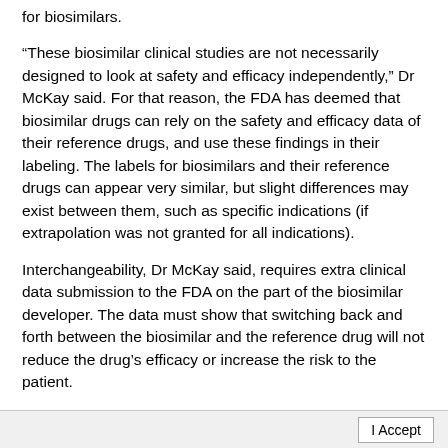for biosimilars.
“These biosimilar clinical studies are not necessarily designed to look at safety and efficacy independently,” Dr McKay said. For that reason, the FDA has deemed that biosimilar drugs can rely on the safety and efficacy data of their reference drugs, and use these findings in their labeling. The labels for biosimilars and their reference drugs can appear very similar, but slight differences may exist between them, such as specific indications (if extrapolation was not granted for all indications).
Interchangeability, Dr McKay said, requires extra clinical data submission to the FDA on the part of the biosimilar developer. The data must show that switching back and forth between the biosimilar and the reference drug will not reduce the drug’s efficacy or increase the risk to the patient.
If the biosimilar is granted that designation and considered an interchangeable biologic, then
I Accept